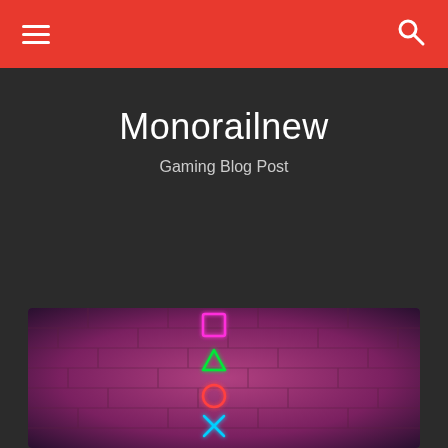Monorailnew - Gaming Blog Post
Monorailnew
Gaming Blog Post
BREAKING NEWS  The Gathering Card Revealed: Alliance Sky
[Figure (photo): PlayStation controller symbols (square, triangle, circle, cross) rendered as neon lights on a brick wall with pink/purple lighting]